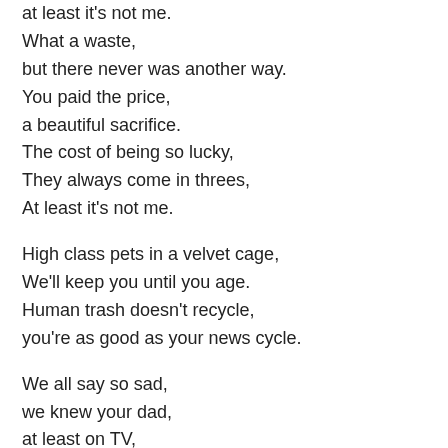at least it's not me.
What a waste,
but there never was another way.
You paid the price,
a beautiful sacrifice.
The cost of being so lucky,
They always come in threes,
At least it's not me.

High class pets in a velvet cage,
We'll keep you until you age.
Human trash doesn't recycle,
you're as good as your news cycle.

We all say so sad,
we knew your dad,
at least on TV,
at least it's not me.
What a waste,